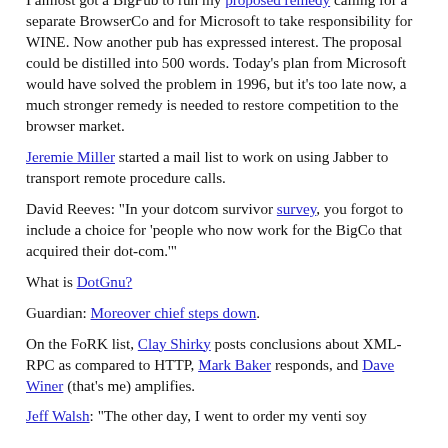I almost got a BigPub to run my proposed remedy calling for a separate BrowserCo and for Microsoft to take responsibility for WINE. Now another pub has expressed interest. The proposal could be distilled into 500 words. Today's plan from Microsoft would have solved the problem in 1996, but it's too late now, a much stronger remedy is needed to restore competition to the browser market.
Jeremie Miller started a mail list to work on using Jabber to transport remote procedure calls.
David Reeves: "In your dotcom survivor survey, you forgot to include a choice for 'people who now work for the BigCo that acquired their dot-com.'"
What is DotGnu?
Guardian: Moreover chief steps down.
On the FoRK list, Clay Shirky posts conclusions about XML-RPC as compared to HTTP, Mark Baker responds, and Dave Winer (that's me) amplifies.
Jeff Walsh: "The other day I went to order my venti soy...